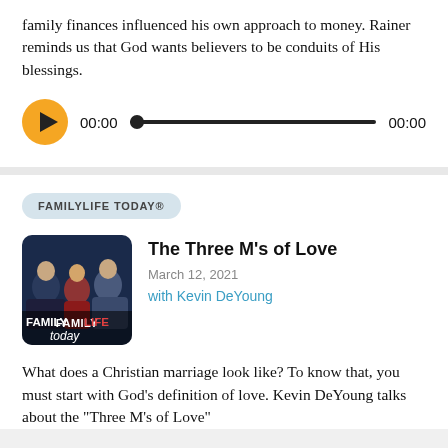family finances influenced his own approach to money. Rainer reminds us that God wants believers to be conduits of His blessings.
[Figure (other): Audio player with orange play button, time display showing 00:00, a scrubber bar, and end time 00:00]
FAMILYLIFE TODAY®
[Figure (photo): FamilyLife Today podcast thumbnail showing two men and a woman posing together with 'FAMILYLIFE today' text overlay]
The Three M's of Love
March 12, 2021
with Kevin DeYoung
What does a Christian marriage look like? To know that, you must start with God's definition of love. Kevin DeYoung talks about the "Three M's of Love"